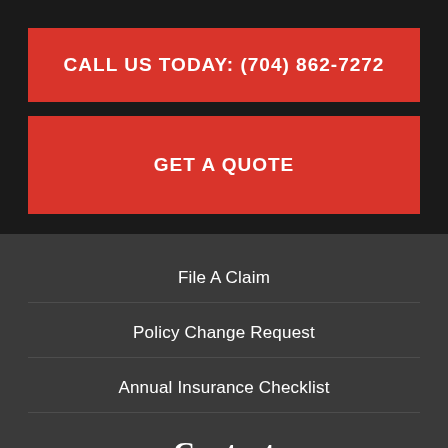CALL US TODAY: (704) 862-7272
GET A QUOTE
File A Claim
Policy Change Request
Annual Insurance Checklist
Contact